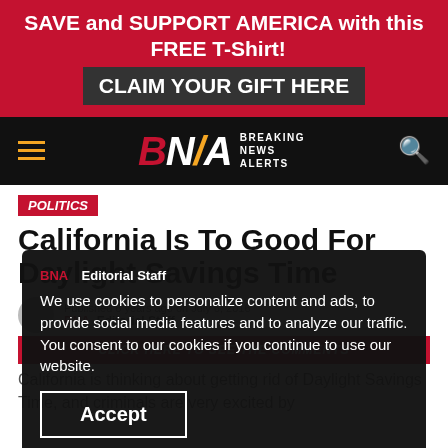SAVE and SUPPORT AMERICA with this FREE T-Shirt! CLAIM YOUR GIFT HERE
[Figure (logo): Breaking News Alerts (BNA) logo on black navigation bar with hamburger menu and search icon]
POLITICS
California Is To Good For Daylight Savings Time
Published 6 years ago on July 6, 2016
BNA Editorial Staff
We use cookies to personalize content and ads, to provide social media features and to analyze our traffic. You consent to our cookies if you continue to use our website.
Accept
CLICK HERE TO SEE THE COMMENTS
California is thinking about getting rid of Daylight Savings Time, and criminals are very excited by